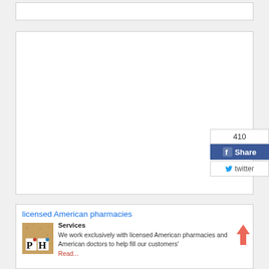[Figure (other): Empty white content box at top of page]
[Figure (other): Large empty white advertisement/content box in the middle of the page with a social share widget overlay showing count 410, Facebook Share button, and Twitter button]
410
Share
twitter
licensed American pharmacies
Services
We work exclusively with licensed American pharmacies and American doctors to help fill our customers'
Read...